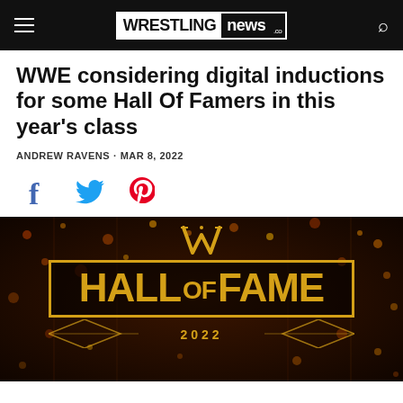WRESTLING NEWS .co
WWE considering digital inductions for some Hall Of Famers in this year's class
ANDREW RAVENS · MAR 8, 2022
[Figure (other): Social share icons: Facebook, Twitter, Pinterest]
[Figure (photo): WWE Hall of Fame 2022 logo on dark golden bokeh background]